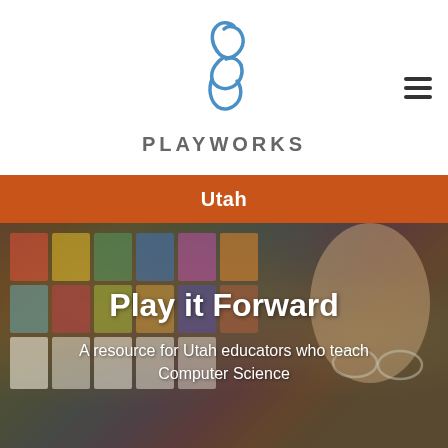[Figure (logo): Playworks logo — stylized figure SVG in blue above the text PLAYWORKS in gray capitals]
Utah
[Figure (photo): A smiling woman with glasses and blonde hair in a classroom with colorful papers on a bulletin board in the background]
Play it Forward
A resource for Utah educators who teach Computer Science